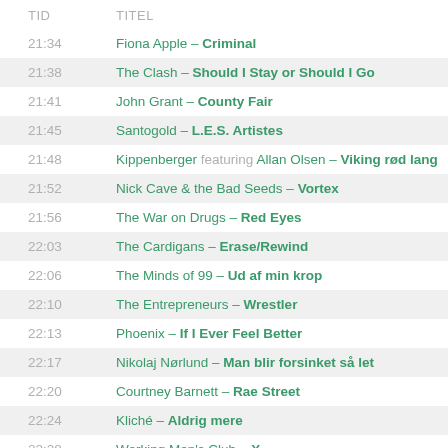| TID | TITEL |
| --- | --- |
| 21:34 | Fiona Apple – Criminal |
| 21:38 | The Clash – Should I Stay or Should I Go |
| 21:41 | John Grant – County Fair |
| 21:45 | Santogold – L.E.S. Artistes |
| 21:48 | Kippenberger featuring Allan Olsen – Viking rød lang |
| 21:52 | Nick Cave & the Bad Seeds – Vortex |
| 21:56 | The War on Drugs – Red Eyes |
| 22:03 | The Cardigans – Erase/Rewind |
| 22:06 | The Minds of 99 – Ud af min krop |
| 22:10 | The Entrepreneurs – Wrestler |
| 22:13 | Phoenix – If I Ever Feel Better |
| 22:17 | Nikolaj Nørlund – Man blir forsinket så let |
| 22:20 | Courtney Barnett – Rae Street |
| 22:24 | Kliché – Aldrig mere |
| 22:28 | Working Men's Club – X |
| 22:32 | Hymns From Nineveh – Anywhere With You |